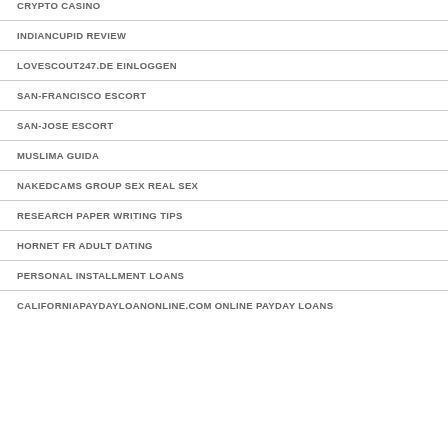CRYPTO CASINO
INDIANCUPID REVIEW
LOVESCOUT247.DE EINLOGGEN
SAN-FRANCISCO ESCORT
SAN-JOSE ESCORT
MUSLIMA GUIDA
NAKEDCAMS GROUP SEX REAL SEX
RESEARCH PAPER WRITING TIPS
HORNET FR ADULT DATING
PERSONAL INSTALLMENT LOANS
CALIFORNIAPAYDAYLOANONLINE.COM ONLINE PAYDAY LOANS